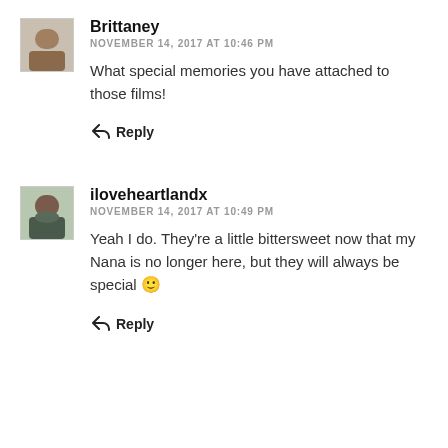[Figure (photo): Small avatar photo of Brittaney, showing a person outdoors]
Brittaney
NOVEMBER 14, 2017 AT 10:46 PM
What special memories you have attached to those films!
Reply
[Figure (photo): Small avatar photo of iloveheartlandx, showing a person standing outdoors]
iloveheartlandx
NOVEMBER 14, 2017 AT 10:49 PM
Yeah I do. They're a little bittersweet now that my Nana is no longer here, but they will always be special 🙂
Reply